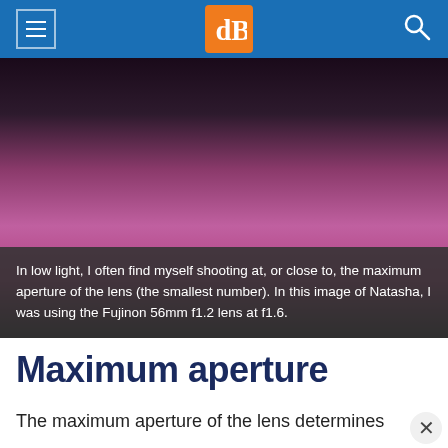dPS navigation bar with hamburger menu, dPS logo, and search icon
[Figure (photo): A partial torso photo of a person named Natasha wearing a magenta/fuchsia dress against a dark background, taken with Fujinon 56mm f1.2 lens at f1.6]
In low light, I often find myself shooting at, or close to, the maximum aperture of the lens (the smallest number). In this image of Natasha, I was using the Fujinon 56mm f1.2 lens at f1.6.
Maximum aperture
The maximum aperture of the lens determines